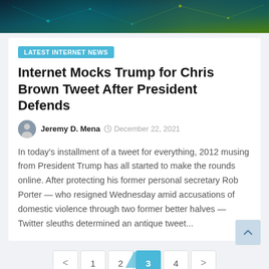[Figure (photo): Dark teal/green aerial city network image used as header banner]
LATEST INTERNET NEWS
Internet Mocks Trump for Chris Brown Tweet After President Defends
Jeremy D. Mena   December 22, 2021
In today's installment of a tweet for everything, 2012 musing from President Trump has all started to make the rounds online. After protecting his former personal secretary Rob Porter — who resigned Wednesday amid accusations of domestic violence through two former better halves — Twitter sleuths determined an antique tweet...
< 1 2 3 4 >  Page 3 of 4